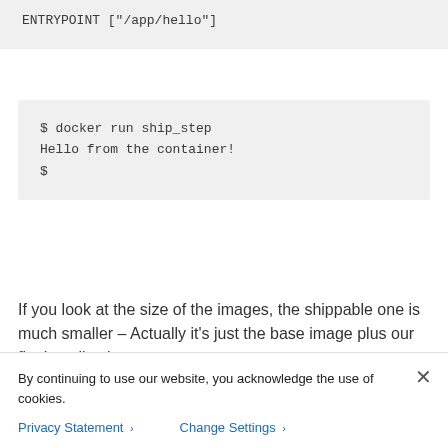ENTRYPOINT ["/app/hello"]
$ docker run ship_step
Hello from the container!
$
If you look at the size of the images, the shippable one is much smaller – Actually it's just the base image plus our final application:
$ docker image ls
By continuing to use our website, you acknowledge the use of cookies.
Privacy Statement > Change Settings >